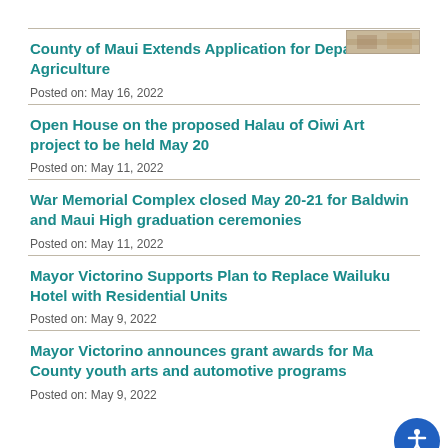[Figure (photo): Small thumbnail image in top right corner]
County of Maui Extends Application for Department of Agriculture
Posted on: May 16, 2022
Open House on the proposed Halau of Oiwi Art project to be held May 20
Posted on: May 11, 2022
War Memorial Complex closed May 20-21 for Baldwin and Maui High graduation ceremonies
Posted on: May 11, 2022
Mayor Victorino Supports Plan to Replace Wailuku Hotel with Residential Units
Posted on: May 9, 2022
Mayor Victorino announces grant awards for Maui County youth arts and automotive programs
Posted on: May 9, 2022